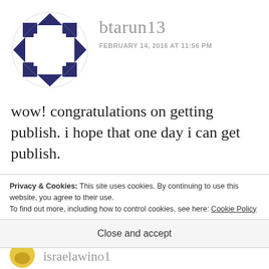[Figure (illustration): Decorative avatar icon: dark navy blue geometric quilt-pattern circle with white square center]
btarun13
FEBRUARY 14, 2016 AT 11:56 PM
wow! congratulations on getting publish. i hope that one day i can get publish.
Will your book be available on torrent?
check my blog, i am not a published writer but i am trying.
Privacy & Cookies: This site uses cookies. By continuing to use this website, you agree to their use.
To find out more, including how to control cookies, see here: Cookie Policy
Close and accept
israelawino1